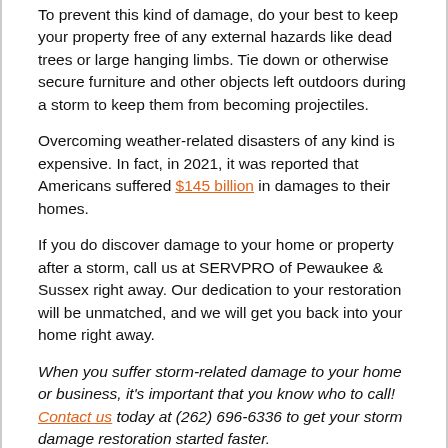To prevent this kind of damage, do your best to keep your property free of any external hazards like dead trees or large hanging limbs. Tie down or otherwise secure furniture and other objects left outdoors during a storm to keep them from becoming projectiles.
Overcoming weather-related disasters of any kind is expensive. In fact, in 2021, it was reported that Americans suffered $145 billion in damages to their homes.
If you do discover damage to your home or property after a storm, call us at SERVPRO of Pewaukee & Sussex right away. Our dedication to your restoration will be unmatched, and we will get you back into your home right away.
When you suffer storm-related damage to your home or business, it's important that you know who to call! Contact us today at (262) 696-6336 to get your storm damage restoration started faster.
Making a Plan/Kit For You & Your Pets for an Emergency